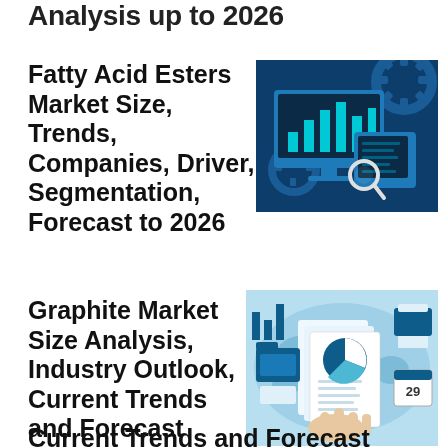Analysis up to 2026
Fatty Acid Esters Market Size, Trends, Companies, Driver, Segmentation, Forecast to 2026
[Figure (illustration): Market research illustration showing a desktop monitor with bar charts (teal/blue bars), a tablet device, a magnifying glass, and gear/cog icons in the background, all on a dark navy blue background with bright teal highlights.]
Graphite Market Size Analysis, Industry Outlook, Current Trends and Forecast
[Figure (illustration): Market research illustration showing hands holding a document with a pie chart, a global world map background in teal/blue tones, icons for printer, calendar (29), bar charts, and document folders, on a light blue background.]